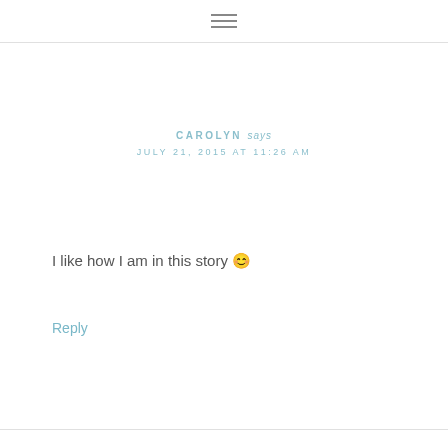≡
CAROLYN says
JULY 21, 2015 AT 11:26 AM
I like how I am in this story 🙂
Reply